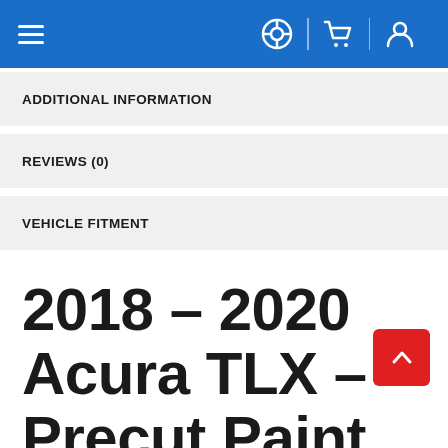Navigation header with hamburger menu, help, cart, and user icons
ADDITIONAL INFORMATION
REVIEWS (0)
VEHICLE FITMENT
2018 – 2020 Acura TLX – Precut Paint Protection Kit